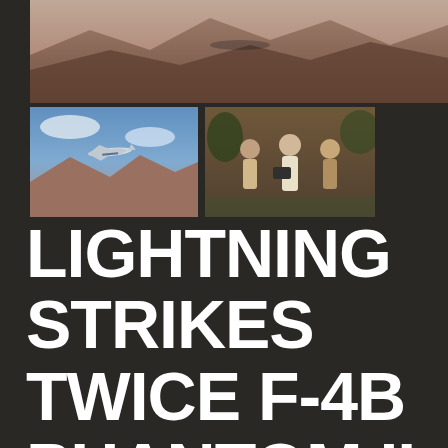[Figure (photo): Large painting of an aircraft (F-4B Phantom II) flying over mountains with pink/brown sky at top]
[Figure (photo): Thumbnail painting of a Navy aircraft flying over mountains]
[Figure (photo): Thumbnail photo of three men outdoors, one holding a camera or object]
LIGHTNING STRIKES TWICE F-4B PHANTOM II AP
$210.00
Lightning Strikes Twice F-4B Phantom II limited edition